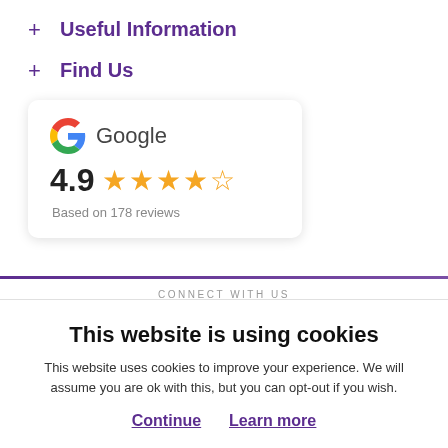+ Useful Information
+ Find Us
[Figure (other): Google review card showing 4.9 star rating based on 178 reviews]
CONNECT WITH US
This website is using cookies
This website uses cookies to improve your experience. We will assume you are ok with this, but you can opt-out if you wish.
Continue   Learn more